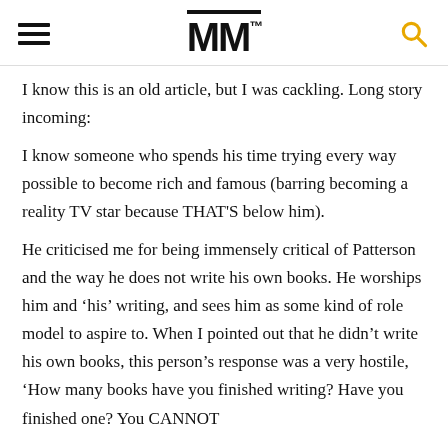MM™
I know this is an old article, but I was cackling. Long story incoming:
I know someone who spends his time trying every way possible to become rich and famous (barring becoming a reality TV star because THAT'S below him).
He criticised me for being immensely critical of Patterson and the way he does not write his own books. He worships him and 'his' writing, and sees him as some kind of role model to aspire to. When I pointed out that he didn't write his own books, this person's response was a very hostile, 'How many books have you finished writing? Have you finished one? You CANNOT